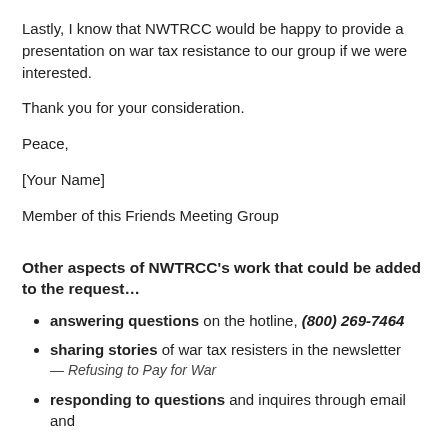Lastly, I know that NWTRCC would be happy to provide a presentation on war tax resistance to our group if we were interested.
Thank you for your consideration.
Peace,
[Your Name]
Member of this Friends Meeting Group
Other aspects of NWTRCC's work that could be added to the request…
answering questions on the hotline, (800) 269-7464
sharing stories of war tax resisters in the newsletter — Refusing to Pay for War
responding to questions and inquires through email and